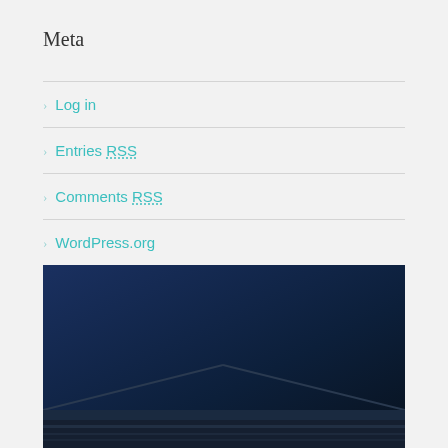Meta
Log in
Entries RSS
Comments RSS
WordPress.org
[Figure (photo): Dark navy blue building exterior/roof photograph, partially visible at bottom of page]